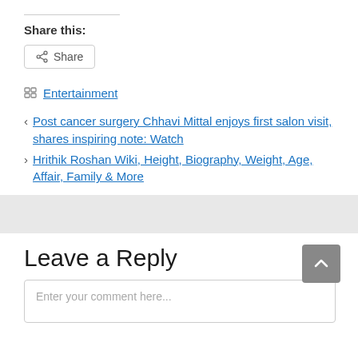Share this:
Share
Entertainment
Post cancer surgery Chhavi Mittal enjoys first salon visit, shares inspiring note: Watch
Hrithik Roshan Wiki, Height, Biography, Weight, Age, Affair, Family & More
Leave a Reply
Enter your comment here...